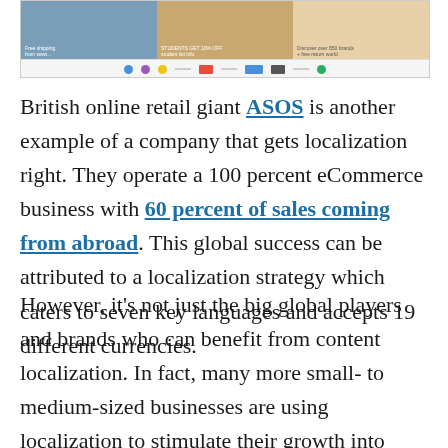[Figure (screenshot): Screenshot of ASOS website showing banner with free shipping, discount offer, and brand discovery messages, along with social media/payment icons row below.]
British online retail giant ASOS is another example of a company that gets localization right. They operate a 100 percent eCommerce business with 60 percent of sales coming from abroad. This global success can be attributed to a localization strategy which caters to seven key languages and accepts 19 different currencies.
However, it's not just the big global players and brands who can benefit from content localization. In fact, many more small- to medium-sized businesses are using localization to stimulate their growth into international markets as well.